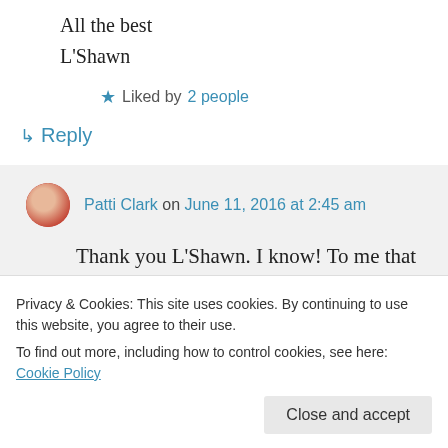All the best
L'Shawn
★ Liked by 2 people
↳ Reply
Patti Clark on June 11, 2016 at 2:45 am
Thank you L'Shawn. I know! To me that is the funnest part of being a part of the wordpress group, is finding all these
Privacy & Cookies: This site uses cookies. By continuing to use this website, you agree to their use.
To find out more, including how to control cookies, see here: Cookie Policy